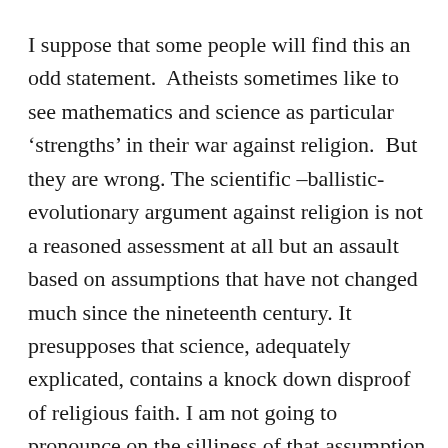I suppose that some people will find this an odd statement.  Atheists sometimes like to see mathematics and science as particular ‘strengths’ in their war against religion.  But they are wrong. The scientific –ballistic-evolutionary argument against religion is not a reasoned assessment at all but an assault based on assumptions that have not changed much since the nineteenth century. It presupposes that science, adequately explicated, contains a knock down disproof of religious faith. I am not going to pronounce on the silliness of that assumption except to say that no one as yet can define